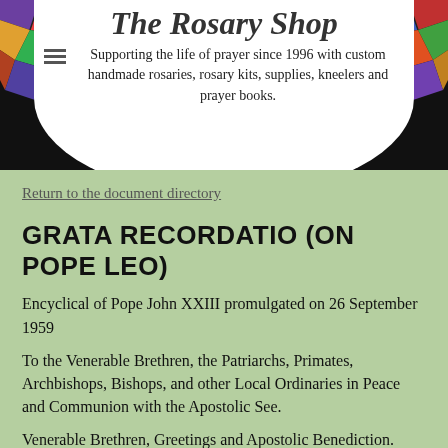[Figure (logo): The Rosary Shop logo with stained glass arc border and white oval center containing shop name and tagline]
The Rosary Shop
Supporting the life of prayer since 1996 with custom handmade rosaries, rosary kits, supplies, kneelers and prayer books.
Return to the document directory
GRATA RECORDATIO (ON POPE LEO)
Encyclical of Pope John XXIII promulgated on 26 September 1959
To the Venerable Brethren, the Patriarchs, Primates, Archbishops, Bishops, and other Local Ordinaries in Peace and Communion with the Apostolic See.
Venerable Brethren, Greetings and Apostolic Benediction.
Among the pleasant recollections of Our younger-days are the Encyclicals which Pope Leo XIII used to write to the whole Catholic world as the month of October drew